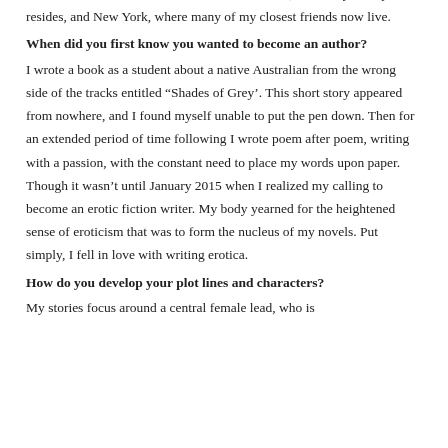2006. I now continue to travel between Australia, where my family resides, and New York, where many of my closest friends now live.
When did you first know you wanted to become an author?
I wrote a book as a student about a native Australian from the wrong side of the tracks entitled “Shades of Grey’. This short story appeared from nowhere, and I found myself unable to put the pen down. Then for an extended period of time following I wrote poem after poem, writing with a passion, with the constant need to place my words upon paper. Though it wasn’t until January 2015 when I realized my calling to become an erotic fiction writer. My body yearned for the heightened sense of eroticism that was to form the nucleus of my novels. Put simply, I fell in love with writing erotica.
How do you develop your plot lines and characters?
My stories focus around a central female lead, who is